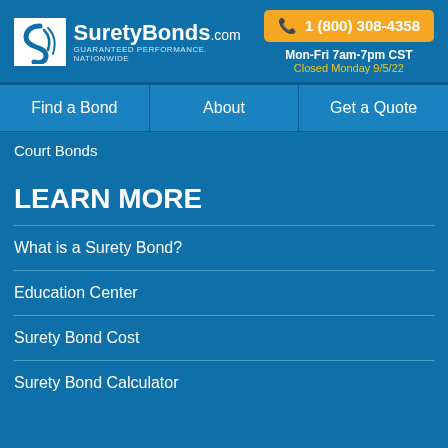[Figure (logo): SuretyBonds.com logo with S icon and tagline GUARANTEED PERFORMANCE. NATIONWIDE]
1 (800) 308-4358
Mon-Fri 7am-7pm CST
Closed Monday 9/5/22
Find a Bond
About
Get a Quote
Court Bonds
LEARN MORE
What is a Surety Bond?
Education Center
Surety Bond Cost
Surety Bond Calculator